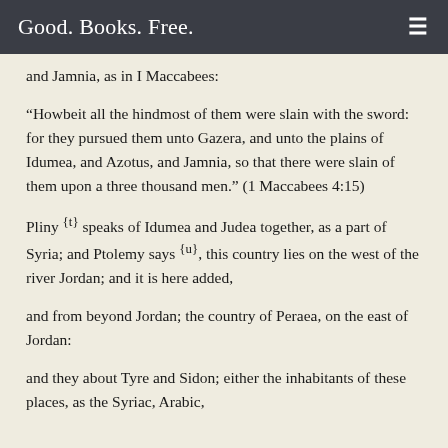Good. Books. Free.
and Jamnia, as in I Maccabees:
“Howbeit all the hindmost of them were slain with the sword: for they pursued them unto Gazera, and unto the plains of Idumea, and Azotus, and Jamnia, so that there were slain of them upon a three thousand men.” (1 Maccabees 4:15)
Pliny {t} speaks of Idumea and Judea together, as a part of Syria; and Ptolemy says {u}, this country lies on the west of the river Jordan; and it is here added,
and from beyond Jordan; the country of Peraea, on the east of Jordan:
and they about Tyre and Sidon; either the inhabitants of these places, as the Syriac, Arabic,